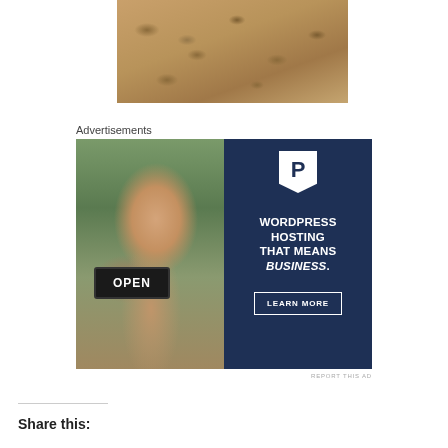[Figure (photo): Aerial or overhead view of footprints in sand at a beach]
Advertisements
[Figure (photo): WordPress hosting advertisement banner showing a smiling woman holding an OPEN sign on the left, and dark navy background on the right with a P logo, text 'WORDPRESS HOSTING THAT MEANS BUSINESS.' and a LEARN MORE button]
REPORT THIS AD
Share this: